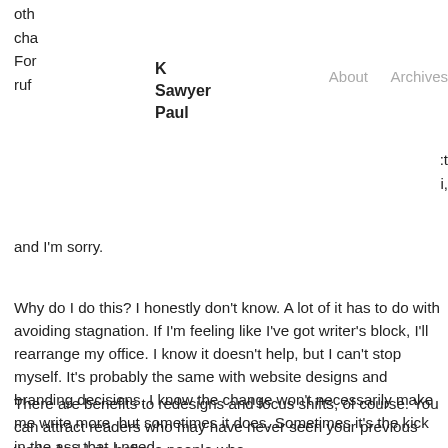K Sawyer Paul   About   Archives
oth
cha
For
rufl
and I'm sorry.
Why do I do this? I honestly don't know. A lot of it has to do with avoiding stagnation. If I'm feeling like I've got writer's block, I'll rearrange my office. I know it doesn't help, but I can't stop myself. It's probably the same with website designs and branding decisions. I know the change won't necessarily make me write more, but sometimes it does. Sometimes it's the kick in the ass that I need.
There are benefits to redesigns and focus shifts, of course. You can attract readers who may have never seen your previous work. And I do believe people who